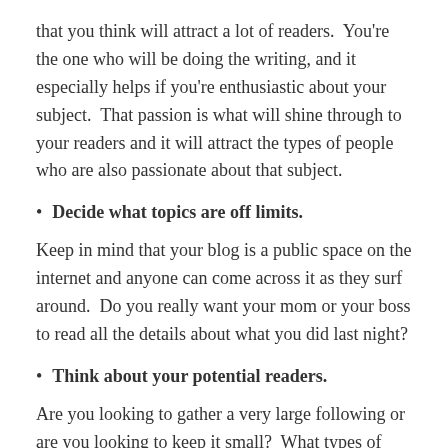that you think will attract a lot of readers.  You're the one who will be doing the writing, and it especially helps if you're enthusiastic about your subject.  That passion is what will shine through to your readers and it will attract the types of people who are also passionate about that subject.
Decide what topics are off limits.
Keep in mind that your blog is a public space on the internet and anyone can come across it as they surf around.  Do you really want your mom or your boss to read all the details about what you did last night?
Think about your potential readers.
Are you looking to gather a very large following or are you looking to keep it small?  What types of things will they find value in?  What can you show or teach them, or even ask